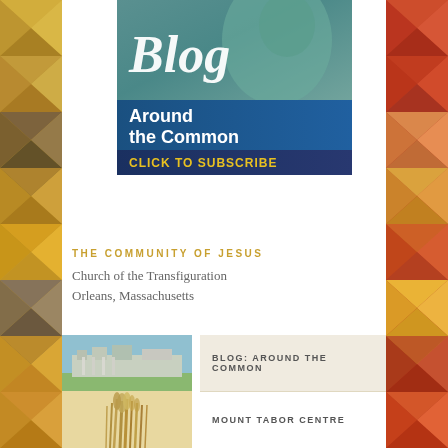[Figure (illustration): Blog Around the Common promotional banner with 'Blog' in cursive script over a blue-tinted statue background, with 'Around the Common' in bold white text on blue, and 'CLICK TO SUBSCRIBE' in gold/yellow on dark blue bar at bottom]
THE COMMUNITY OF JESUS
Church of the Transfiguration
Orleans, Massachusetts
[Figure (photo): Photo of a large building (Church of the Transfiguration) with green lawn]
BLOG: AROUND THE COMMON
[Figure (photo): Photo of decorative reeds or straw arrangement]
MOUNT TABOR CENTRE